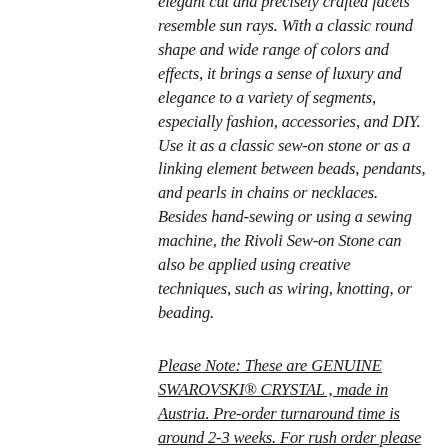elegant cut and precisely crafted facets resemble sun rays. With a classic round shape and wide range of colors and effects, it brings a sense of luxury and elegance to a variety of segments, especially fashion, accessories, and DIY. Use it as a classic sew-on stone or as a linking element between beads, pendants, and pearls in chains or necklaces. Besides hand-sewing or using a sewing machine, the Rivoli Sew-on Stone can also be applied using creative techniques, such as wiring, knotting, or beading.
Please Note: These are GENUINE SWAROVSKI® CRYSTAL , made in Austria. Pre-order turnaround time is around 2-3 weeks. For rush order please contact us